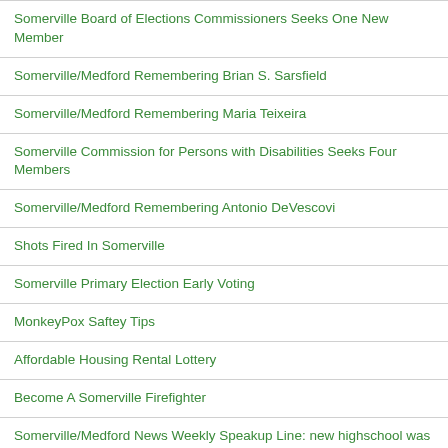Somerville Board of Elections Commissioners Seeks One New Member
Somerville/Medford Remembering Brian S. Sarsfield
Somerville/Medford Remembering Maria Teixeira
Somerville Commission for Persons with Disabilities Seeks Four Members
Somerville/Medford Remembering Antonio DeVescovi
Shots Fired In Somerville
Somerville Primary Election Early Voting
MonkeyPox Saftey Tips
Affordable Housing Rental Lottery
Become A Somerville Firefighter
Somerville/Medford News Weekly Speakup Line: new highschool was a big waste of taxpayer money